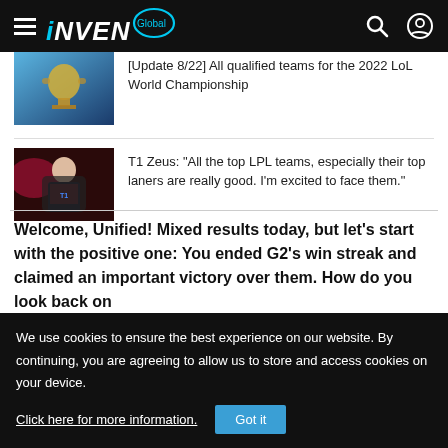INVEN Global
[Figure (screenshot): Thumbnail image of LoL World Championship trophy]
[Update 8/22] All qualified teams for the 2022 LoL World Championship
[Figure (photo): Photo of T1 Zeus player seated in gaming chair]
T1 Zeus: "All the top LPL teams, especially their top laners are really good. I'm excited to face them."
Welcome, Unified! Mixed results today, but let's start with the positive one: You ended G2's win streak and claimed an important victory over them. How do you look back on
We use cookies to ensure the best experience on our website. By continuing, you are agreeing to allow us to store and access cookies on your device.
Click here for more information.
Got it